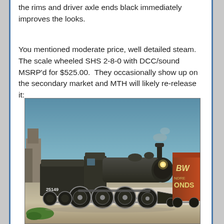the rims and driver axle ends black immediately improves the looks.
You mentioned moderate price, well detailed steam.  The scale wheeled SHS 2-8-0 with DCC/sound MSRP'd for $525.00.  They occasionally show up on the secondary market and MTH will likely re-release it:
[Figure (photo): A model train locomotive (steam engine, dark/black coloring, numbered 25149) on a model railroad layout with gravel ballast, small trackside buildings, and a freight car visible on the right side with text 'ONDS'. The background shows a blue sky on the diorama.]